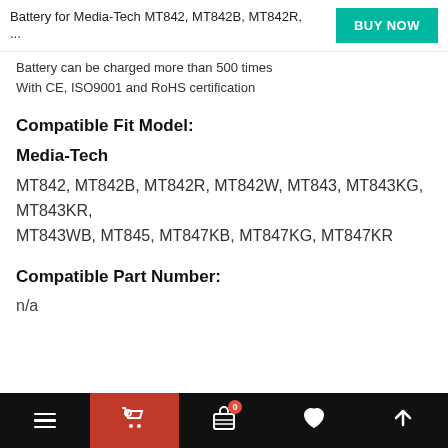Battery for Media-Tech MT842, MT842B, MT842R, ...
Battery can be charged more than 500 times
With CE, ISO9001 and RoHS certification
Compatible Fit Model:
Media-Tech
MT842, MT842B, MT842R, MT842W, MT843, MT843KG, MT843KR, MT843WB, MT845, MT847KB, MT847KG, MT847KR
Compatible Part Number:
n/a
Navigation bar with menu, cart, bag, heart, and up icons